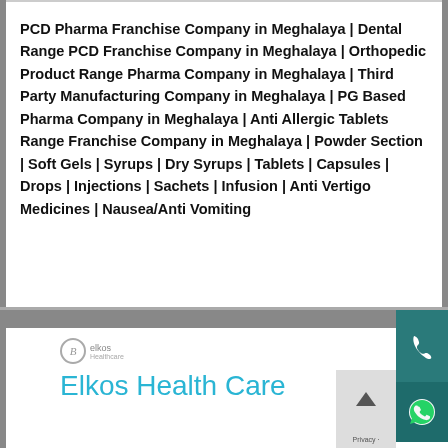PCD Pharma Franchise Company in Meghalaya | Dental Range PCD Franchise Company in Meghalaya | Orthopedic Product Range Pharma Company in Meghalaya | Third Party Manufacturing Company in Meghalaya | PG Based Pharma Company in Meghalaya | Anti Allergic Tablets Range Franchise Company in Meghalaya | Powder Section | Soft Gels | Syrups | Dry Syrups | Tablets | Capsules | Drops | Injections | Sachets | Infusion | Anti Vertigo Medicines | Nausea/Anti Vomiting
[Figure (logo): Elkos Healthcare logo with italic B in circle and company name 'Elkos Health Care' in teal/cyan color]